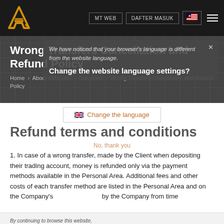[Figure (logo): AMarkets gold 'A' logo on dark navbar]
MT WEB  DAFTER MASUK  [MY flag]  ☰
Wrong Transfers Cancellation and Refund Policy
We have noticed that your browser's language is different from the website language. Change the website language settings?
Home › About AMarkets › Dokumen › Wrong Transfers Cancellation and Refund Policy
Change the language
Refund terms and conditions
No, thank you
1. In case of a wrong transfer, made by the Client when depositing their trading account, money is refunded only via the payment methods available in the Personal Area. Additional fees and other costs of each transfer method are listed in the Personal Area and on the Company's [website, as updated] by the Company from time
By continuing to browse this website,